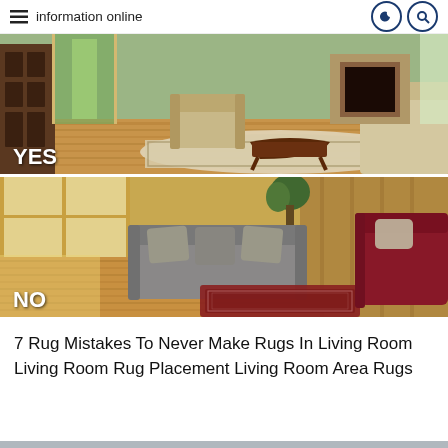information online
[Figure (photo): Two living room photos stacked vertically. Top photo labeled YES shows a well-arranged living room with hardwood floors, an area rug under furniture including beige armchairs and a coffee table, green walls and a fireplace. Bottom photo labeled NO shows a living room with a grey sofa and red leather chair where a small rug does not extend under the furniture.]
7 Rug Mistakes To Never Make Rugs In Living Room Living Room Rug Placement Living Room Area Rugs